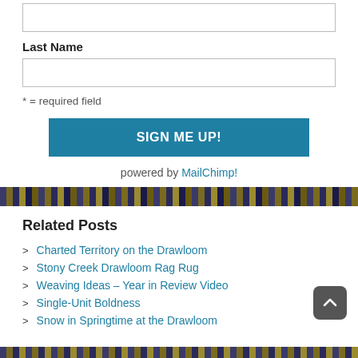[Figure (other): Empty text input field (form input box)]
Last Name
[Figure (other): Empty text input field for Last Name]
* = required field
SIGN ME UP!
powered by MailChimp!
[Figure (photo): Woven textile divider strip in dark blue and gold colors]
Related Posts
Charted Territory on the Drawloom
Stony Creek Drawloom Rag Rug
Weaving Ideas – Year in Review Video
Single-Unit Boldness
Snow in Springtime at the Drawloom